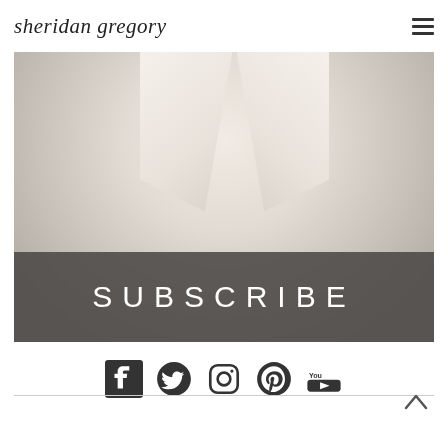sheridan gregory
[Figure (photo): Fashion photo of a person wearing a white/cream trench coat with a dark button, with a SUBSCRIBE banner overlay at the bottom of the image]
SUBSCRIBE
[Figure (infographic): Social media icons row: Facebook, Twitter, Instagram, Pinterest, YouTube]
Back to top arrow